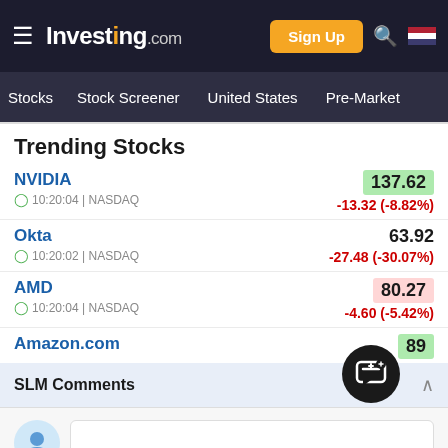Investing.com — Sign Up
Stocks | Stock Screener | United States | Pre-Market
Trending Stocks
NVIDIA 137.62 -13.32 (-8.82%) 10:20:04 | NASDAQ
Okta 63.92 -27.48 (-30.07%) 10:20:02 | NASDAQ
AMD 80.27 -4.60 (-5.42%) 10:20:04 | NASDAQ
Amazon.com ...89
SLM Comments